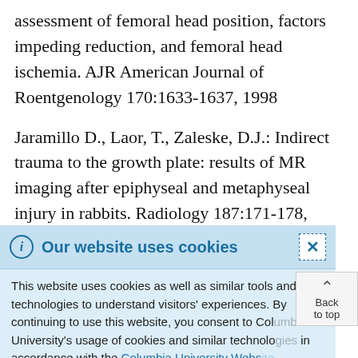assessment of femoral head position, factors impeding reduction, and femoral head ischemia. AJR American Journal of Roentgenology 170:1633-1637, 1998
Jaramillo D., Laor, T., Zaleske, D.J.: Indirect trauma to the growth plate: results of MR imaging after epiphyseal and metaphyseal injury in rabbits. Radiology 187:171-178, 1993
Jaramillo D., Hoffer, F.A., Shapiro, F., Rand, F.: MR
Our website uses cookies
This website uses cookies as well as similar tools and technologies to understand visitors' experiences. By continuing to use this website, you consent to Columbia University's usage of cookies and similar technologies in accordance with the Columbia University Website Cookie Notice.